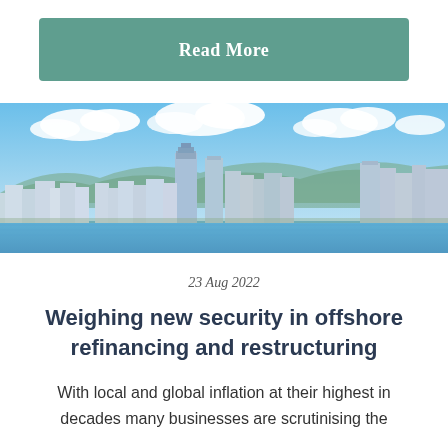Read More
[Figure (photo): Panoramic cityscape of Hong Kong skyline with skyscrapers, harbor, mountains, and blue sky with clouds]
23 Aug 2022
Weighing new security in offshore refinancing and restructuring
With local and global inflation at their highest in decades many businesses are scrutinising the